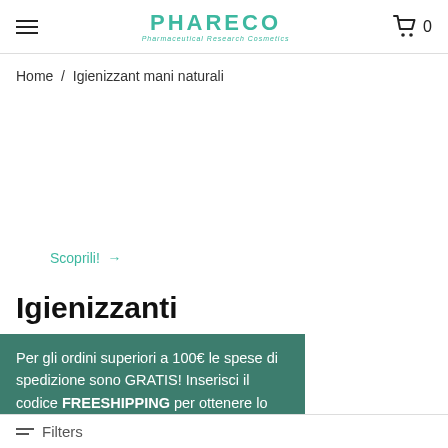PHARECO Pharmaceutical Research Cosmetics — navigation header with hamburger menu and cart (0 items)
Home / Igienizzant mani naturali
[Figure (other): Product image area (empty/white space) for hand sanitizer products]
Scoprili! →
Igienizzanti
Per gli ordini superiori a 100€ le spese di spedizione sono GRATIS! Inserisci il codice FREESHIPPING per ottenere lo...